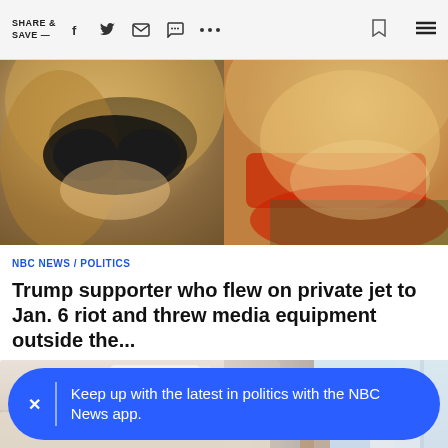SHARE & SAVE —
[Figure (photo): Two people wearing sunglasses, close-up portrait with a red accent in background]
NBC NEWS / POLITICS
Trump supporter who flew on private jet to Jan. 6 riot and threw media equipment outside the...
[Figure (photo): Bedroom with white and dark pillows on a bed, chair in background near window]
Keep up with the latest in politics with the NBC News app.